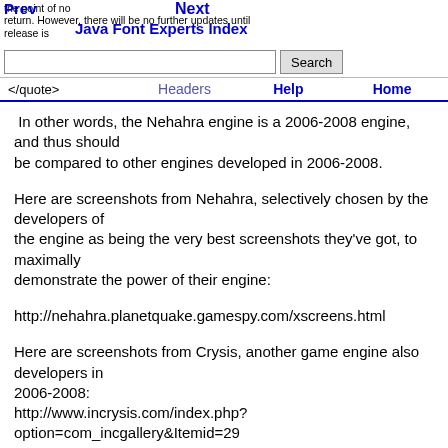Prev | Next | Java Font Experts Index | the point of no return. However, there will be no further updates until release is | </quote> | Headers | Help | Home
In other words, the Nehahra engine is a 2006-2008 engine, and thus should be compared to other engines developed in 2006-2008.
Here are screenshots from Nehahra, selectively chosen by the developers of the engine as being the very best screenshots they've got, to maximally demonstrate the power of their engine:
http://nehahra.planetquake.gamespy.com/xscreens.html
Here are screenshots from Crysis, another game engine also developers in 2006-2008: http://www.incrysis.com/index.php?option=com_incgallery&Itemid=29